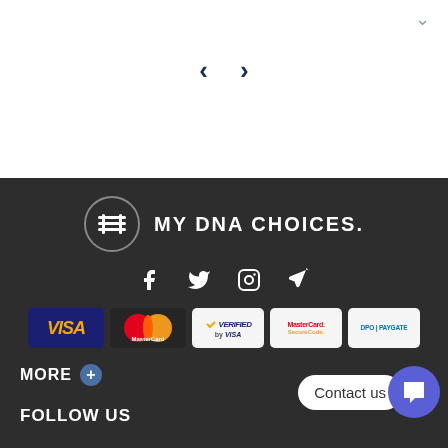[Figure (screenshot): Navigation chevron down arrow in top right, and left/right navigation arrows centered in white section]
[Figure (logo): MY DNA CHOICES logo with circular emblem and text, social media icons (Facebook, Twitter, Instagram, Telegram), and payment method logos (Visa, MasterCard, Verified by Visa, MasterCard SecureCode, DPO PayGate)]
MORE +
Contact us
FOLLOW US